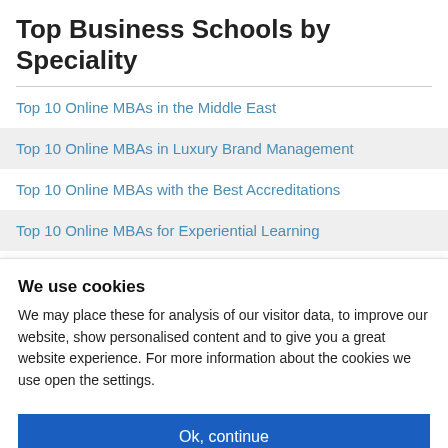Top Business Schools by Speciality
Top 10 Online MBAs in the Middle East
Top 10 Online MBAs in Luxury Brand Management
Top 10 Online MBAs with the Best Accreditations
Top 10 Online MBAs for Experiential Learning
We use cookies
We may place these for analysis of our visitor data, to improve our website, show personalised content and to give you a great website experience. For more information about the cookies we use open the settings.
Ok, continue
Deny
No, adjust